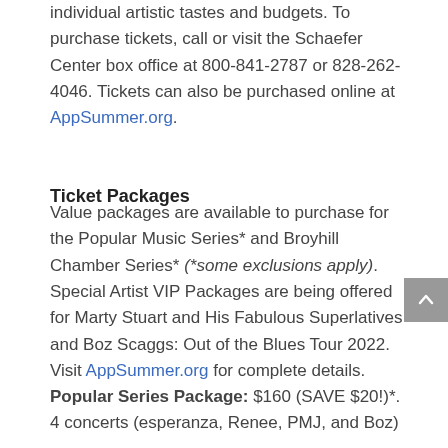individual artistic tastes and budgets. To purchase tickets, call or visit the Schaefer Center box office at 800-841-2787 or 828-262-4046. Tickets can also be purchased online at AppSummer.org.
Ticket Packages
Value packages are available to purchase for the Popular Music Series* and Broyhill Chamber Series* (*some exclusions apply). Special Artist VIP Packages are being offered for Marty Stuart and His Fabulous Superlatives and Boz Scaggs: Out of the Blues Tour 2022. Visit AppSummer.org for complete details.
Popular Series Package: $160 (SAVE $20!)*. 4 concerts (esperanza, Renee, PMJ, and Boz) *Marty Stuart and Boz Scaggs VIP Packages not...